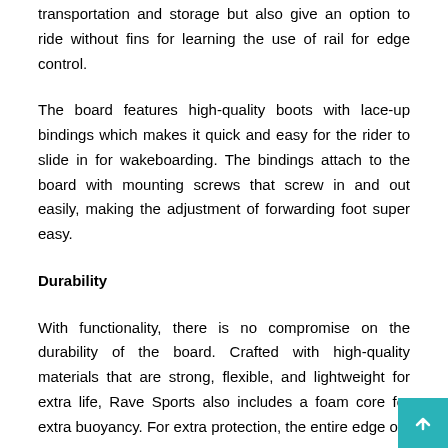transportation and storage but also give an option to ride without fins for learning the use of rail for edge control.
The board features high-quality boots with lace-up bindings which makes it quick and easy for the rider to slide in for wakeboarding. The bindings attach to the board with mounting screws that screw in and out easily, making the adjustment of forwarding foot super easy.
Durability
With functionality, there is no compromise on the durability of the board. Crafted with high-quality materials that are strong, flexible, and lightweight for extra life, Rave Sports also includes a foam core for extra buoyancy. For extra protection, the entire edge of